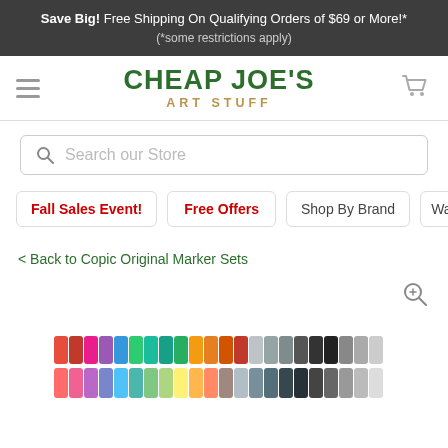Save Big! Free Shipping On Qualifying Orders of $69 or More!* (*some restrictions apply)
[Figure (logo): Cheap Joe's Art Stuff logo with green bold text and gold subtitle]
[Figure (screenshot): Search bar with placeholder 'Search our Store']
Fall Sales Event!
Free Offers
Shop By Brand
Watercolor
< Back to Copic Original Marker Sets
[Figure (photo): Copic original marker sets arranged in a row, bottom portion visible, with zoom icon in top right]